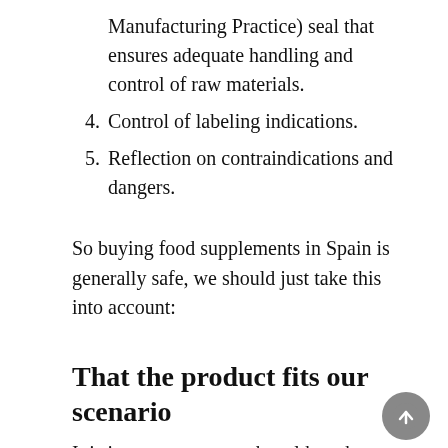Manufacturing Practice) seal that ensures adequate handling and control of raw materials.
Control of labeling indications.
Reflection on contraindications and dangers.
So buying food supplements in Spain is generally safe, we should just take this into account:
That the product fits our scenario
It is important to note that although a supplement X, which contains a certain active ingredient, has been considered safe at certain doses, there are some pathological conditions